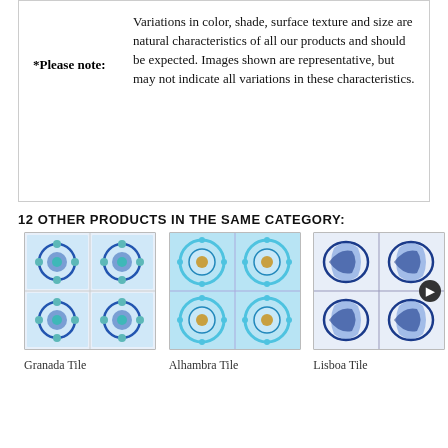*Please note: Variations in color, shade, surface texture and size are natural characteristics of all our products and should be expected. Images shown are representative, but may not indicate all variations in these characteristics.
12 OTHER PRODUCTS IN THE SAME CATEGORY:
[Figure (photo): Granada Tile - decorative blue and teal patterned ceramic tile]
Granada Tile
[Figure (photo): Alhambra Tile - decorative blue and gold patterned ceramic tile]
Alhambra Tile
[Figure (photo): Lisboa Tile - decorative blue and white patterned ceramic tile]
Lisboa Tile